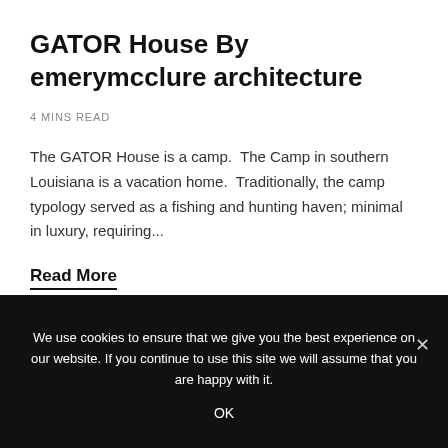GATOR House By emerymcclure architecture
4 MINS READ
The GATOR House is a camp.  The Camp in southern Louisiana is a vacation home.  Traditionally, the camp typology served as a fishing and hunting haven; minimal in luxury, requiring...
Read More
We use cookies to ensure that we give you the best experience on our website. If you continue to use this site we will assume that you are happy with it.
OK